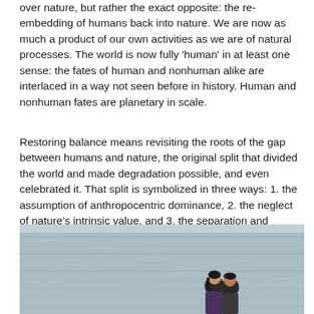over nature, but rather the exact opposite: the re-embedding of humans back into nature. We are now as much a product of our own activities as we are of natural processes. The world is now fully 'human' in at least one sense: the fates of human and nonhuman alike are interlaced in a way not seen before in history. Human and nonhuman fates are planetary in scale.
Restoring balance means revisiting the roots of the gap between humans and nature, the original split that divided the world and made degradation possible, and even celebrated it. That split is symbolized in three ways: 1. the assumption of anthropocentric dominance, 2. the neglect of nature’s intrinsic value, and 3. the separation and distancing of humans from the ecosystems that sustain them (both physical and psychological) .
[Figure (photo): A photograph showing two people (a man and a woman) near a body of water. The water is choppy and grey, taking up most of the background. The two figures are on the right-center of the image.]